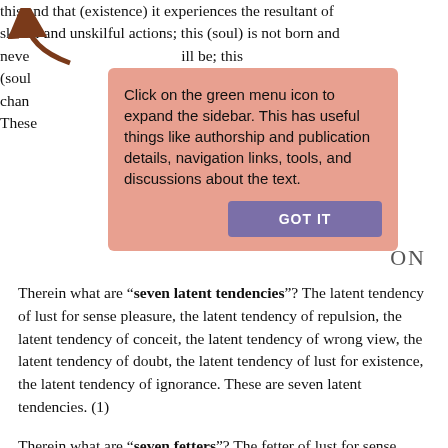this and that (existence) it experiences the resultant of skilful and unskilful actions; this (soul) is not born and never will be; this (soul) is subject to change as truth. These ON
[Figure (other): A tooltip/popup overlay with a salmon/pink background and a brown arrow pointing to a green menu icon (off screen). The tooltip reads: 'Click on the green menu icon to expand the sidebar. This has useful things like authorship and publication details, navigation links, tools, and discussions about the text.' with a purple 'GOT IT' button.]
Therein what are “seven latent tendencies”? The latent tendency of lust for sense pleasure, the latent tendency of repulsion, the latent tendency of conceit, the latent tendency of wrong view, the latent tendency of doubt, the latent tendency of lust for existence, the latent tendency of ignorance. These are seven latent tendencies. (1)
Therein what are “seven fetters”? The fetter of lust for sense pleasure, the fetter of repulsion, the fetter of conceit, the fetter of wrong view, the fetter of doubt, the fetter of lust for existence, the fetter of ignorance. These are seven